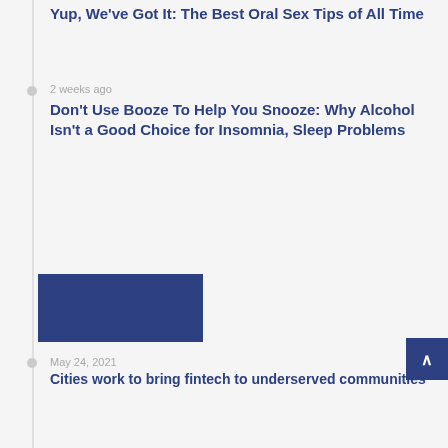Yup, We've Got It: The Best Oral Sex Tips of All Time
2 weeks ago
Don't Use Booze To Help You Snooze: Why Alcohol Isn't a Good Choice for Insomnia, Sleep Problems
[Figure (other): Blue rectangle placeholder image]
May 24, 2021
Cities work to bring fintech to underserved communities
May 25, 2021
Will Litecoin ever hit the $10,000 mark
May 25, 2021
Autonation Inc Among Today's Top Buys As Major Indices Pop
April 22, 2021
Michigan Cop Punches Black Man in the Face Repeatedly During Arrest
April 22, 2021